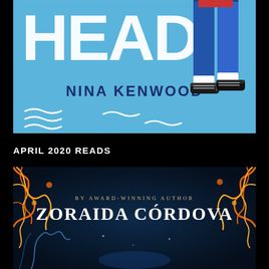[Figure (illustration): Book cover showing partial title 'HEAD' in large white distressed font on a light blue background, with a figure in jeans and sneakers visible on the right side, author name NINA KENWOOD in dark blue bold text, and wavy white lines at the bottom suggesting water]
APRIL 2020 READS
[Figure (illustration): Book cover with dark navy background featuring orange and gold flame/swirl decorations around the edges, text reads 'BY AWARD-WINNING AUTHOR' above 'ZORAIDA CÓRDOVA' in large white serif font, with fantasy/magical imagery at the bottom]